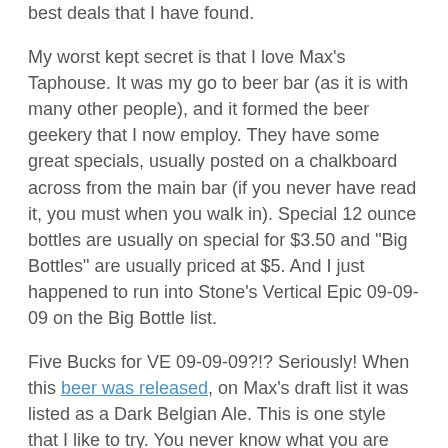best deals that I have found.
My worst kept secret is that I love Max's Taphouse.  It was my go to beer bar (as it is with many other people), and it formed the beer geekery that I now employ.  They have some great specials, usually posted on a chalkboard across from the main bar (if you never have read it, you must when you walk in).  Special 12 ounce bottles are usually on special for $3.50 and "Big Bottles" are usually priced at $5.  And I just happened to run into Stone's Vertical Epic 09-09-09 on the Big Bottle list.
Five Bucks for VE 09-09-09?!?  Seriously!  When this beer was released, on Max's draft list it was listed as a Dark Belgian Ale.  This is one style that I like to try.  You never know what you are going to get- maybe a big spice bomb, maybe a dubbel, who knows.  On the nose, I got a lot of roasted malt, lots of chocolate.  Didn't know what I would think about it, but I brought it to my mouth.  (There are a lot of beers with roasted malt that I hadn't been into.  I couldn't get myself into the porters and stouts that I wanted to try.  I was in the middle of my hophead revolution.)  Once it hit my